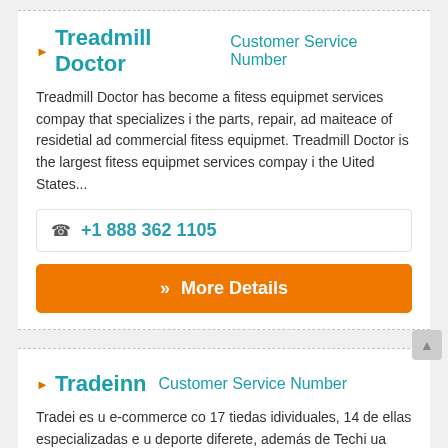Treadmill Doctor Customer Service Number
Treadmill Doctor has become a fitess equipmet services compay that specializes i the parts, repair, ad maiteace of residetial ad commercial fitess equipmet. Treadmill Doctor is the largest fitess equipmet services compay i the Uited States...
+1 888 362 1105
» More Details
Tradeinn Customer Service Number
Tradei es u e-commerce co 17 tiedas idividuales, 14 de ellas especializadas e u deporte diferete, además de Techi ua tieda especializada e tecología , Bricoi especialista e hogar y bricolaje y Kidi uestra tieda para iños. Tradei reali...